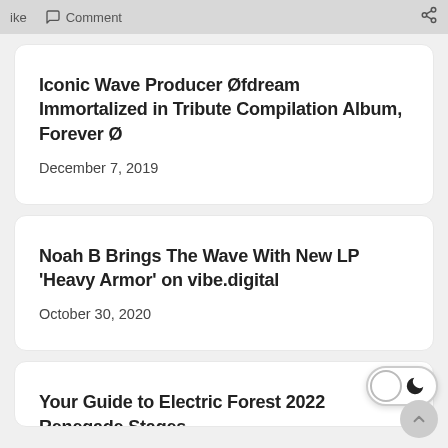ike  Comment  [share]
Iconic Wave Producer Øfdream Immortalized in Tribute Compilation Album, Forever Ø
December 7, 2019
Noah B Brings The Wave With New LP 'Heavy Armor' on vibe.digital
October 30, 2020
Your Guide to Electric Forest 2022 Renegade Stages